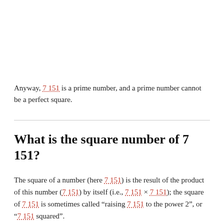Anyway, 7 151 is a prime number, and a prime number cannot be a perfect square.
What is the square number of 7 151?
The square of a number (here 7 151) is the result of the product of this number (7 151) by itself (i.e., 7 151 × 7 151); the square of 7 151 is sometimes called "raising 7 151 to the power 2", or "7 151 squared".